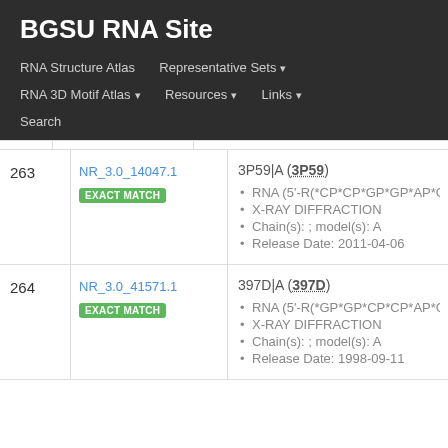BGSU RNA Site
RNA Structure Atlas | Representative Sets ▾ | RNA 3D Motif Atlas ▾ | Resources ▾ | Links ▾ | Search
| # | ID | Details |
| --- | --- | --- |
| 263 | NR_3.0_14047.1 EXACT MATCH | 3P59|A (3P59) • RNA (5'-R(*CP*CP*GP*GP*AP*GP*GP*AP*AP*CP... • X-RAY DIFFRACTION • Chain(s): ; model(s): A • Release Date: 2011-04-06 |
| 264 | NR_3.0_41571.1 EXACT MATCH | 397D|A (397D) • RNA (5'-R(*GP*GP*CP*CP*AP*GP*AP*UP*CP*UP... • X-RAY DIFFRACTION • Chain(s): ; model(s): A • Release Date: 1998-09-11 |